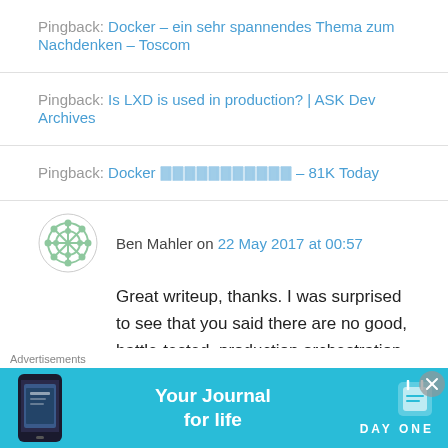Pingback: Docker – ein sehr spannendes Thema zum Nachdenken – Toscom
Pingback: Is LXD is used in production? | ASK Dev Archives
Pingback: Docker 🀫🀫🀫🀫🀫🀫🀫🀫🀫🀫🀫 – 81K Today
Ben Mahler on 22 May 2017 at 00:57
Great writeup, thanks. I was surprised to see that you said there are no good, battle-tested, production orchestration systems in existence.
Advertisements
[Figure (screenshot): Advertisement banner for Day One journal app with cyan background showing 'Your Journal for life' text and app logo]